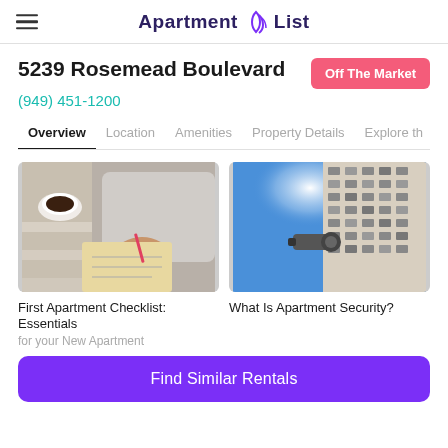Apartment List
5239 Rosemead Boulevard
Off The Market
(949) 451-1200
Overview  Location  Amenities  Property Details  Explore th
[Figure (photo): Person writing in a notebook at a table with a coffee cup, wearing a sweater]
[Figure (photo): Looking up at a tall apartment building with a security camera mounted on the exterior, blue sky background]
First Apartment Checklist: Essentials for your New Apartment
What Is Apartment Security?
Find Similar Rentals